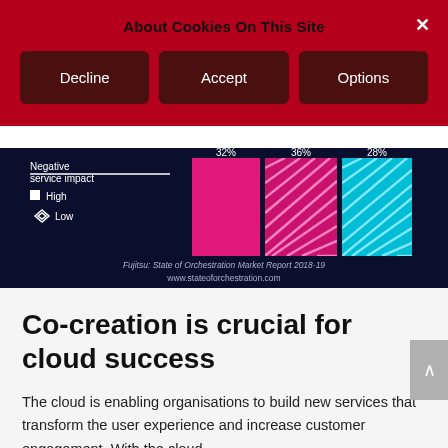About Cookies On This Site
Decline
Accept
Options
[Figure (bar-chart): Partial chart visible showing bars with values 32%, 36%, 28% and legend items 'Negative service impact', 'High', 'Low'. Source: Fujitsu: State of Orchestration Market Report 2018-19, www.stateoforchestration.com]
Fujitsu: State of Orchestration Market Report 2018-19
www.stateoforchestration.com
Co-creation is crucial for cloud success
The cloud is enabling organisations to build new services that transform the user experience and increase customer engagement. With the cloud,